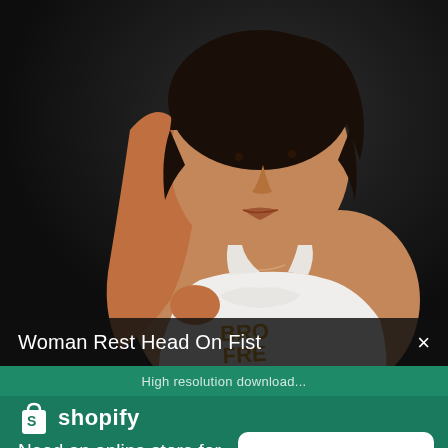[Figure (photo): Woman resting her head on her fist, wearing a white graphic tank top with brown/yellow text, sitting against a dark background. Professional fashion-style photo.]
Woman Rest Head On Fist
High resolution download...
[Figure (logo): Shopify logo: white shopping bag icon with 'S' and white text 'shopify']
Need an online store for your business?
Start free trial